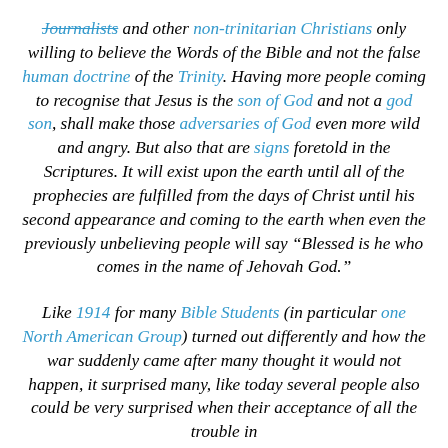Journalists and other non-trinitarian Christians only willing to believe the Words of the Bible and not the false human doctrine of the Trinity. Having more people coming to recognise that Jesus is the son of God and not a god son, shall make those adversaries of God even more wild and angry. But also that are signs foretold in the Scriptures. It will exist upon the earth until all of the prophecies are fulfilled from the days of Christ until his second appearance and coming to the earth when even the previously unbelieving people will say “Blessed is he who comes in the name of Jehovah God.”
Like 1914 for many Bible Students (in particular one North American Group) turned out differently and how the war suddenly came after many thought it would not happen, it surprised many, like today several people also could be very surprised when their acceptance of all the trouble in